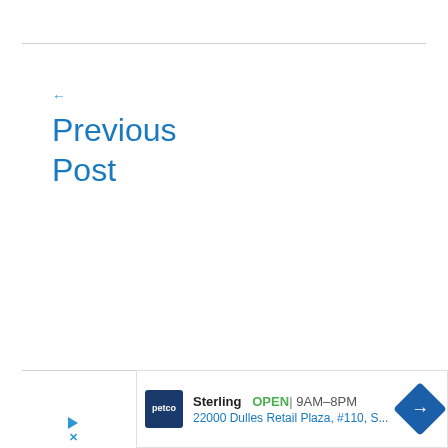←
Previous Post
[Figure (screenshot): Advertisement banner for Petco store in Sterling showing store name, OPEN status, hours 9AM-8PM, address 22000 Dulles Retail Plaza, #110, S... with a blue direction/navigation diamond icon on the right and skip controls on the left]